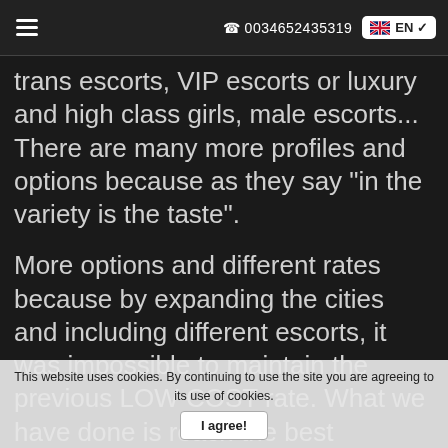☎ 0034652435319  EN
trans escorts, VIP escorts or luxury and high class girls, male escorts... There are many more profiles and options because as they say "in the variety is the taste".
More options and different rates because by expanding the cities and including different escorts, it was impossible to maintain the previous LOW COST rate. What we have done is reach the best collaboration agreements to advertise the best of the moment incredible escorts at
This website uses cookies. By continuing to use the site you are agreeing to its use of cookies.
I agree!